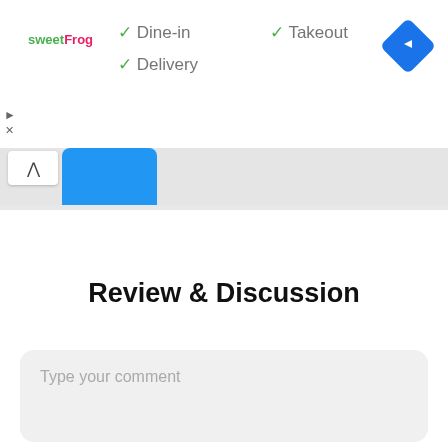[Figure (screenshot): sweetFrog logo in top-left corner]
✓ Dine-in
✓ Takeout
✓ Delivery
[Figure (screenshot): Google Maps navigation icon (blue diamond with white arrow)]
[Figure (screenshot): Map strip with expand/collapse chevron button and blue shape element]
Review & Discussion
Type your comment
Name